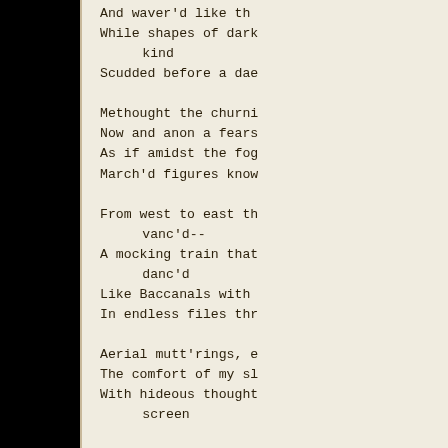And waver'd like th
While shapes of dark
    kind
Scudded before a dae

Methought the churni
Now and anon a fears
As if amidst the fog
March'd figures know

From west to east th
    vanc'd--
A mocking train that
    danc'd
Like Baccanals with
In endless files thr

Aerial mutt'rings, e
The comfort of my sl
With hideous thought
    screen